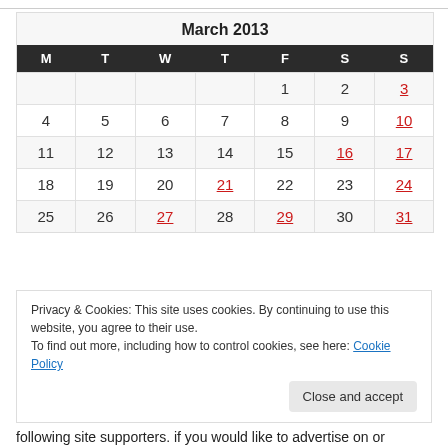| M | T | W | T | F | S | S |
| --- | --- | --- | --- | --- | --- | --- |
|  |  |  |  | 1 | 2 | 3 |
| 4 | 5 | 6 | 7 | 8 | 9 | 10 |
| 11 | 12 | 13 | 14 | 15 | 16 | 17 |
| 18 | 19 | 20 | 21 | 22 | 23 | 24 |
| 25 | 26 | 27 | 28 | 29 | 30 | 31 |
Privacy & Cookies: This site uses cookies. By continuing to use this website, you agree to their use. To find out more, including how to control cookies, see here: Cookie Policy
following site supporters. if you would like to advertise on or